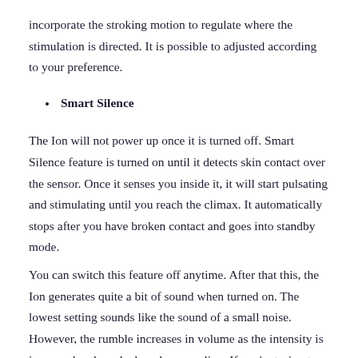incorporate the stroking motion to regulate where the stimulation is directed. It is possible to adjusted according to your preference.
Smart Silence
The Ion will not power up once it is turned off. Smart Silence feature is turned on until it detects skin contact over the sensor. Once it senses you inside it, it will start pulsating and stimulating until you reach the climax. It automatically stops after you have broken contact and goes into standby mode.
You can switch this feature off anytime. After that this, the Ion generates quite a bit of sound when turned on. The lowest setting sounds like the sound of a small noise. However, the rumble increases in volume as the intensity is increased and can be heard as growling. If you're trying to remain discreet or as quiet as you can, it's best to enable this feature. But if you have no need to be discreet then you could consider switching off the feature for the